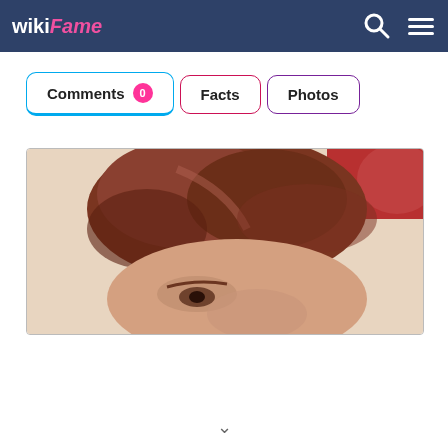wikiFame
Comments 0  Facts  Photos
[Figure (photo): Close-up photo of a person with curly/wavy reddish-brown hair, partially cropped, with a red background visible in the upper right corner.]